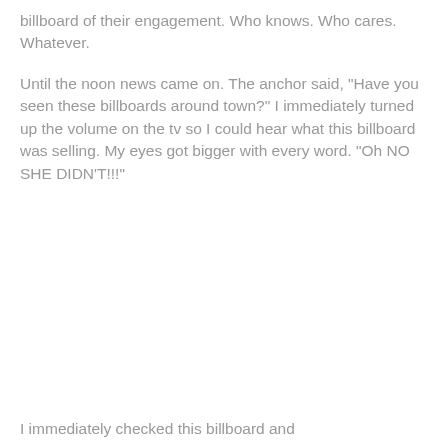billboard of their engagement. Who knows. Who cares. Whatever.
Until the noon news came on. The anchor said, "Have you seen these billboards around town?" I immediately turned up the volume on the tv so I could hear what this billboard was selling. My eyes got bigger with every word. "Oh NO SHE DIDN'T!!!"
I immediately checked this billboard and